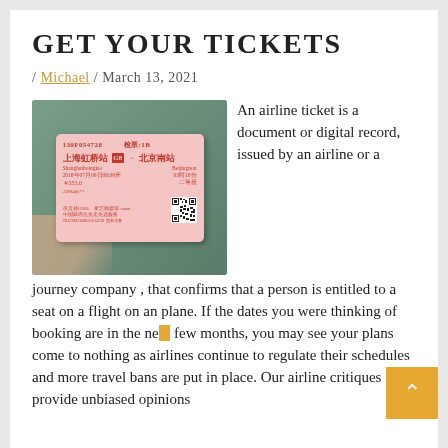GET YOUR TICKETS
/ Michael / March 13, 2021
[Figure (photo): A hand holding a Chinese train ticket (pink/red) with text in Chinese and English, showing route from Shanghai Hongqiao to Beijing, train G8, date 2018-07-09, price ¥553.0, with a QR code in the bottom right.]
An airline ticket is a document or digital record, issued by an airline or a journey company , that confirms that a person is entitled to a seat on a flight on an plane. If the dates you were thinking of booking are in the next few months, you may see your plans come to nothing as airlines continue to regulate their schedules and more travel bans are put in place. Our airline critiques provide unbiased opinions